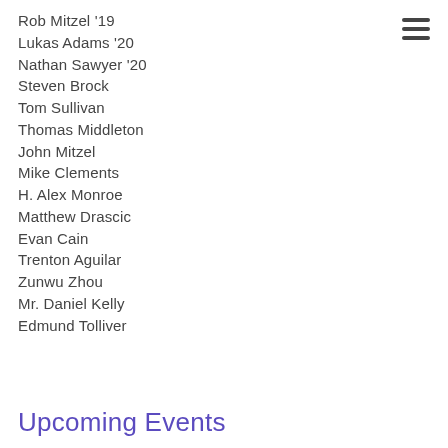Rob Mitzel '19
Lukas Adams '20
Nathan Sawyer '20
Steven Brock
Tom Sullivan
Thomas Middleton
John Mitzel
Mike Clements
H. Alex Monroe
Matthew Drascic
Evan Cain
Trenton Aguilar
Zunwu Zhou
Mr. Daniel Kelly
Edmund Tolliver
Upcoming Events